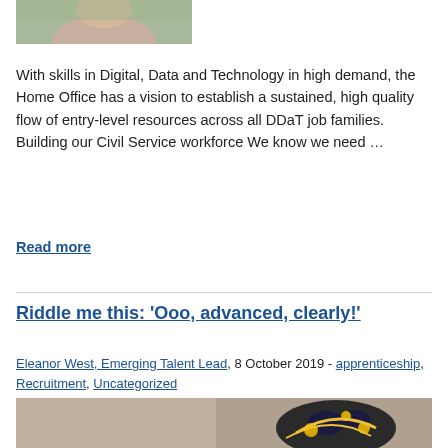[Figure (photo): Partial photo of a person in a green top, cropped at the top of the page]
With skills in Digital, Data and Technology in high demand, the Home Office has a vision to establish a sustained, high quality flow of entry-level resources across all DDaT job families. Building our Civil Service workforce We know we need …
Read more
Riddle me this: 'Ooo, advanced, clearly!'
Eleanor West, Emerging Talent Lead, 8 October 2019 - apprenticeship, Recruitment, Uncategorized
[Figure (photo): Partial photo showing a decorative bee ornament with blue and yellow flowers on a grey background]